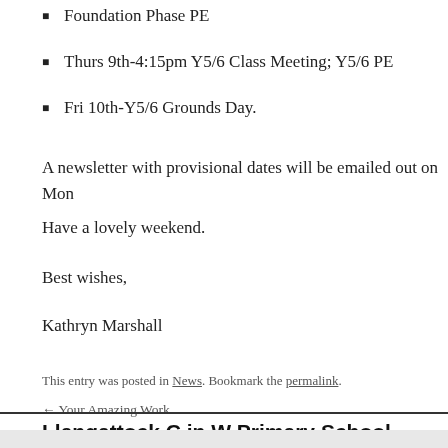Foundation Phase PE
Thurs 9th-4:15pm Y5/6 Class Meeting; Y5/6 PE
Fri 10th-Y5/6 Grounds Day.
A newsletter with provisional dates will be emailed out on Mon…
Have a lovely weekend.
Best wishes,
Kathryn Marshall
This entry was posted in News. Bookmark the permalink.
← Your Amazing Work
Llangattock C in W Primary School